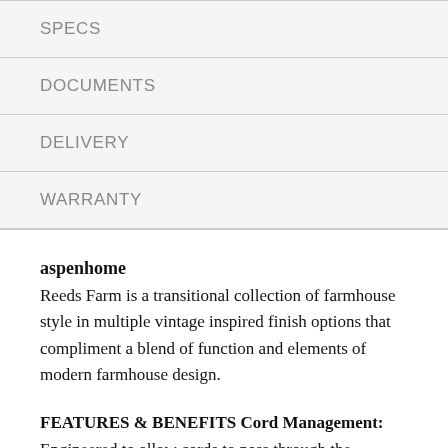SPECS
DOCUMENTS
DELIVERY
WARRANTY
aspenhome
Reeds Farm is a transitional collection of farmhouse style in multiple vintage inspired finish options that compliment a blend of function and elements of modern farmhouse design.
FEATURES & BENEFITS Cord Management: Engineered to allow cords to pass through the furniture to an outlet.
PRODUCT CARE